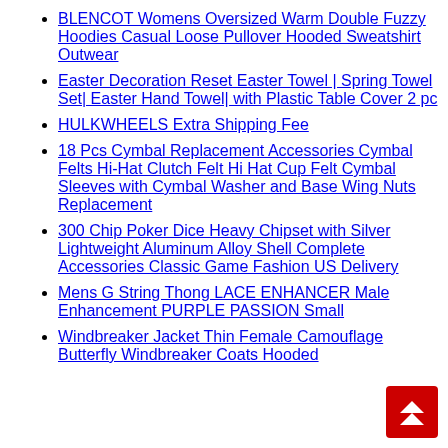BLENCOT Womens Oversized Warm Double Fuzzy Hoodies Casual Loose Pullover Hooded Sweatshirt Outwear
Easter Decoration Reset Easter Towel | Spring Towel Set| Easter Hand Towel| with Plastic Table Cover 2 pc
HULKWHEELS Extra Shipping Fee
18 Pcs Cymbal Replacement Accessories Cymbal Felts Hi-Hat Clutch Felt Hi Hat Cup Felt Cymbal Sleeves with Cymbal Washer and Base Wing Nuts Replacement
300 Chip Poker Dice Heavy Chipset with Silver Lightweight Aluminum Alloy Shell Complete Accessories Classic Game Fashion US Delivery
Mens G String Thong LACE ENHANCER Male Enhancement PURPLE PASSION Small
Windbreaker Jacket Thin Female Camouflage Butterfly Windbreaker Coats Hooded